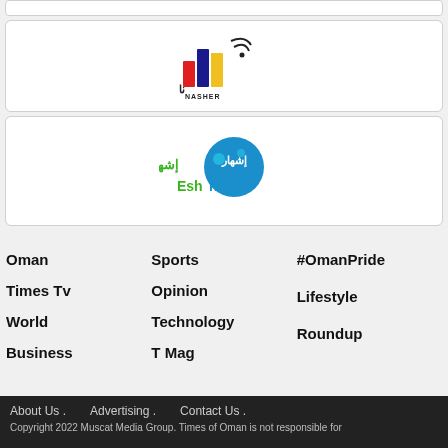[Figure (logo): Nasher logo with Arabic text and colorful bar chart icon with wifi symbol]
[Figure (logo): Eshhar logo with green Arabic text and blue circular icon with Arabic and English text 'Eshhar']
Oman
Times Tv
World
Business
Sports
Opinion
Technology
T Mag
#OmanPride
Lifestyle
Roundup
About Us .   Advertising .   Contact Us .
Copyright 2022 Muscat Media Group. Times of Oman is not responsible for